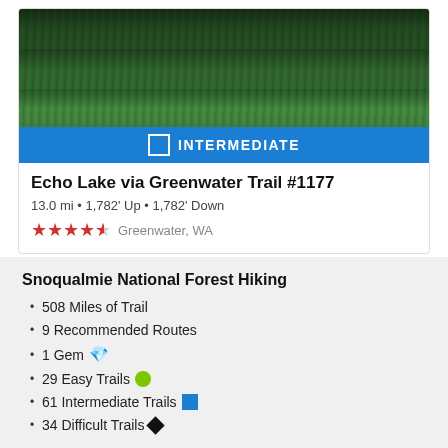[Figure (photo): Forest photo showing dense evergreen trees from above, used as trail card header image]
INTERMEDIATE
Echo Lake via Greenwater Trail #1177
13.0 mi • 1,782' Up • 1,782' Down
★★★★½ Greenwater, WA
Snoqualmie National Forest Hiking
508 Miles of Trail
9 Recommended Routes
1 Gem 💎
29 Easy Trails 🟢
61 Intermediate Trails 🟦
34 Difficult Trails ◆